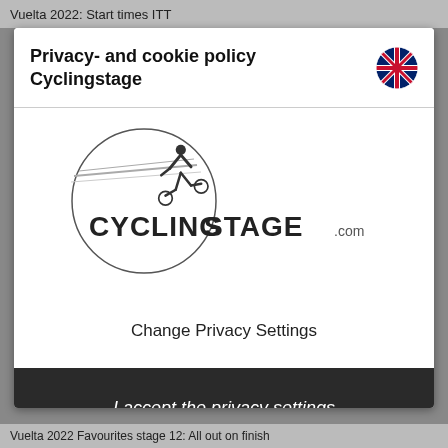Vuelta 2022: Start times ITT
Privacy- and cookie policy Cyclingstage
[Figure (logo): Cyclingstage.com logo: circle with cyclist silhouette and horizontal speed lines, text CYCLING STAGE.com inside and below the circle]
Change Privacy Settings
I accept the privacy settings
Vuelta 2022 Favourites stage 12: All out on finish